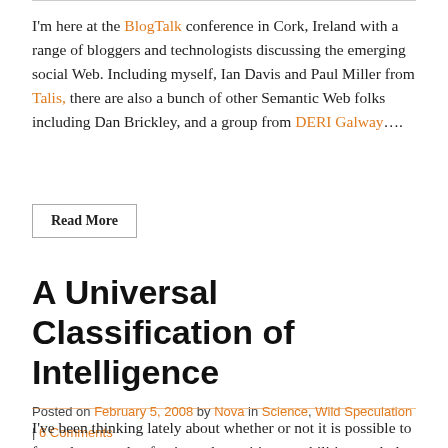I'm here at the BlogTalk conference in Cork, Ireland with a range of bloggers and technologists discussing the emerging social Web. Including myself, Ian Davis and Paul Miller from Talis, there are also a bunch of other Semantic Web folks including Dan Brickley, and a group from DERI Galway….
Read More
A Universal Classification of Intelligence
Posted on February 5, 2008 by Nova in Science, Wild Speculation | 6 Comments
I've been thinking lately about whether or not it is possible to formulate a scale of universal cognitive capabilities, such that any intelligent system — whether naturally occurring or synthetic — can be classified according to its cognitive capacity. Such a system would provide us with a normalized scientific